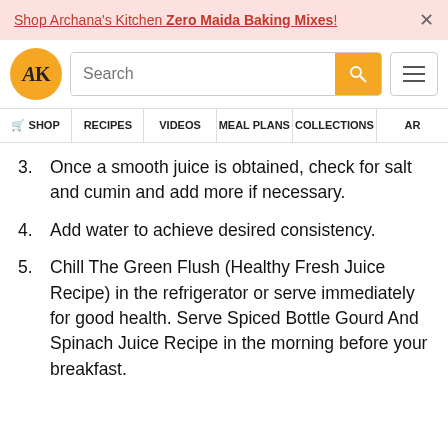Shop Archana's Kitchen Zero Maida Baking Mixes!
[Figure (logo): AK logo - gold circle with AK letters]
3. Once a smooth juice is obtained, check for salt and cumin and add more if necessary.
4. Add water to achieve desired consistency.
5. Chill The Green Flush (Healthy Fresh Juice Recipe) in the refrigerator or serve immediately for good health. Serve Spiced Bottle Gourd And Spinach Juice Recipe in the morning before your breakfast.